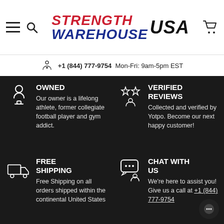[Figure (logo): Strength Warehouse USA logo with hamburger menu and search icon on left, cart icon on right]
+1 (844) 777-9754  Mon-Fri: 9am-5pm EST
OWNED
Our owner is a lifelong athlete, former collegiate football player and gym addict.
VERIFIED REVIEWS
Collected and verified by Yotpo. Become our next happy customer!
FREE SHIPPING
Free Shipping on all orders shipped within the continental United States
CHAT WITH US
We're here to assist you! Give us a call at +1 (844) 777-9754